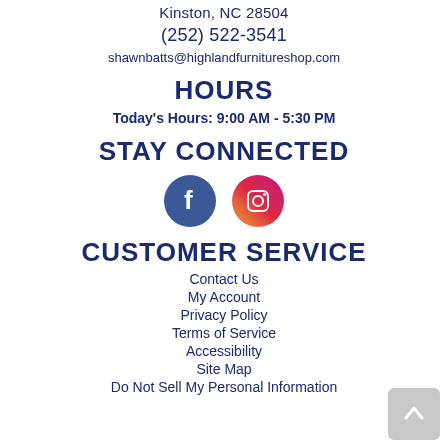Kinston, NC 28504
(252) 522-3541
shawnbatts@highlandfurnitureshop.com
HOURS
Today's Hours: 9:00 AM - 5:30 PM
STAY CONNECTED
[Figure (illustration): Facebook and Instagram social media icon buttons]
CUSTOMER SERVICE
Contact Us
My Account
Privacy Policy
Terms of Service
Accessibility
Site Map
Do Not Sell My Personal Information